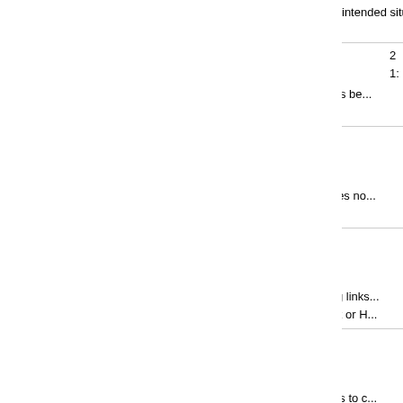intended situations, which might allow remote attackers
| # | CVE | Type | Date |
| --- | --- | --- | --- |
| 36 | CVE-2008-3233 79 | XSS | 2... |
|  | Cross-site scripting (XSS) vulnerability in WordPress be... unspecified vectors. |  |  |
| 37 | CVE-2008-2146 264 | Bypass | 2... |
|  | wp-includes/vars.php in Wordpress before 2.2.3 does no... intended access restrictions for certain pages. |  |  |
| 38 | CVE-2006-1796 | XSS | 2... |
|  | Cross-site scripting (XSS) vulnerability in the paging links... allows remote attackers to inject arbitrary web script or H... |  |  |
| 39 | CVE-2006-0986 | +Info | 2... |
|  | WordPress 2.0.1 and earlier allows remote attackers to c... functions.php, (4) locale.php, (5) wp-db.php, and (6) kse... form.php, (10) edit-page-form.php, (11) admin-footer.php... directory. NOTE: the vars.php, edit-form.php, wp-settings... is already covered by CVE-2005-2110. Other vectors mi... files to wp-includes, then vector [13] is not an exposure. |  |  |
| 40 | CVE-2006-0985 | XSS | 2... |
|  | Multiple cross-site scripting (XSS) vulnerabilities in the... |  |  |